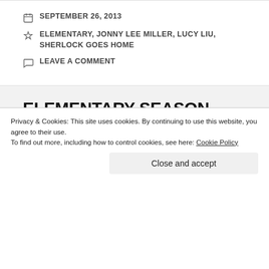SEPTEMBER 26, 2013
ELEMENTARY, JONNY LEE MILLER, LUCY LIU, SHERLOCK GOES HOME
LEAVE A COMMENT
ELEMENTARY SEASON FINALE…AMAZING!
The season finale to Elementary was brilliant, amazing, awesome. The double life twist blew
Privacy & Cookies: This site uses cookies. By continuing to use this website, you agree to their use.
To find out more, including how to control cookies, see here: Cookie Policy
Close and accept